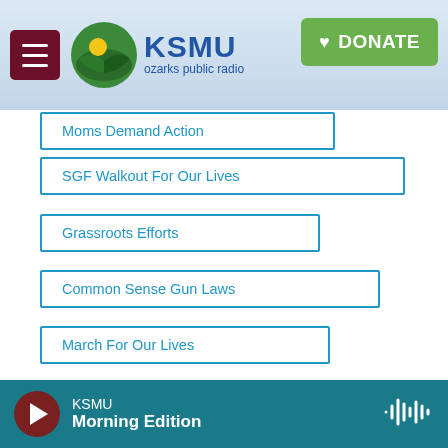KSMU ozarks public radio | DONATE
Moms Demand Action
SGF Walkout For Our Lives
Grassroots Efforts
Common Sense Gun Laws
March For Our Lives
[Figure (screenshot): Social share buttons: Facebook, Twitter, LinkedIn, Email]
Michele Skalicky
KSMU Morning Edition